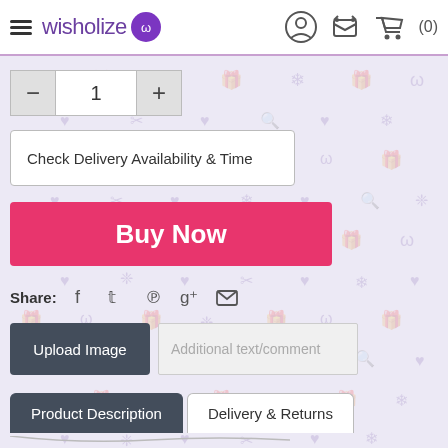wisholize (0)
1
Check Delivery Availability & Time
Buy Now
Share:
Upload Image
Additional text/comment
Product Description
Delivery & Returns